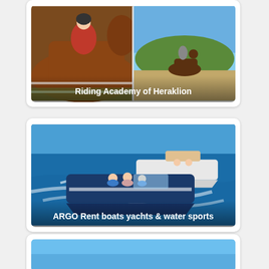[Figure (photo): Card showing two horse riding images side by side with caption 'Riding Academy of Heraklion']
[Figure (photo): Card showing speedboats on water with caption 'ARGO Rent boats yachts & water sports']
[Figure (photo): Card partially visible showing a blue sky scene]